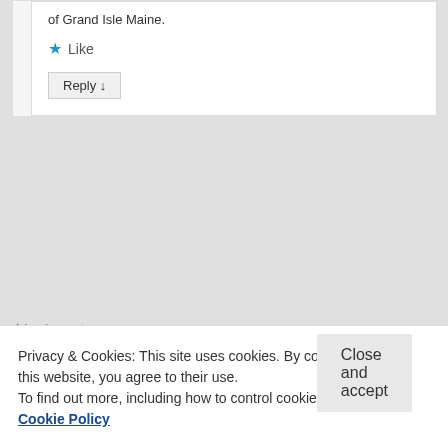of Grand Isle Maine.
Like
Reply ↓
Advertisements
[Figure (screenshot): Advertisement banner: Build a writing habit. GET THE APP with WordPress icon]
[Figure (photo): User avatar placeholder gray square]
weight all my life and now I'm a Diabetic, I take 2
Privacy & Cookies: This site uses cookies. By continuing to use this website, you agree to their use. To find out more, including how to control cookies, see here: Cookie Policy
Close and accept